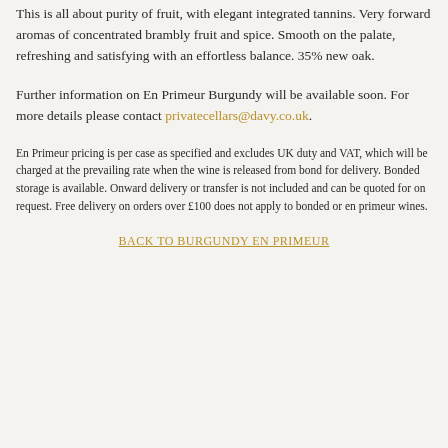This is all about purity of fruit, with elegant integrated tannins. Very forward aromas of concentrated brambly fruit and spice. Smooth on the palate, refreshing and satisfying with an effortless balance. 35% new oak.
Further information on En Primeur Burgundy will be available soon. For more details please contact privatecellars@davy.co.uk.
En Primeur pricing is per case as specified and excludes UK duty and VAT, which will be charged at the prevailing rate when the wine is released from bond for delivery. Bonded storage is available. Onward delivery or transfer is not included and can be quoted for on request. Free delivery on orders over £100 does not apply to bonded or en primeur wines.
BACK TO BURGUNDY EN PRIMEUR